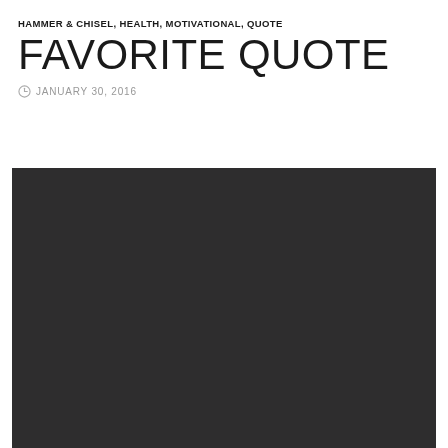HAMMER & CHISEL, HEALTH, MOTIVATIONAL, QUOTE
FAVORITE QUOTE
JANUARY 30, 2016
[Figure (photo): Dark/black background image filling the lower portion of the page]